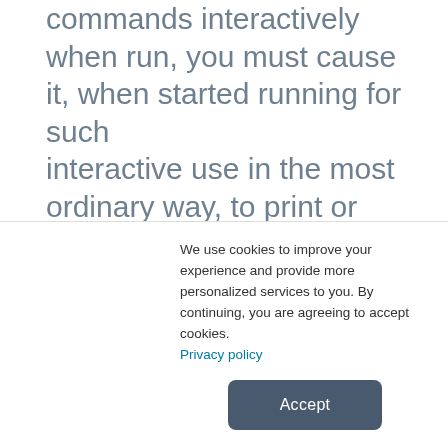commands interactively when run, you must cause it, when started running for such interactive use in the most ordinary way, to print or display an announcement including an appropriate copyright notice and a notice that there is no warranty (or else, saying that you provide a warranty) and that users may redistribute the program under
We use cookies to improve your experience and provide more personalized services to you. By continuing, you are agreeing to accept cookies.
Privacy policy
Accept